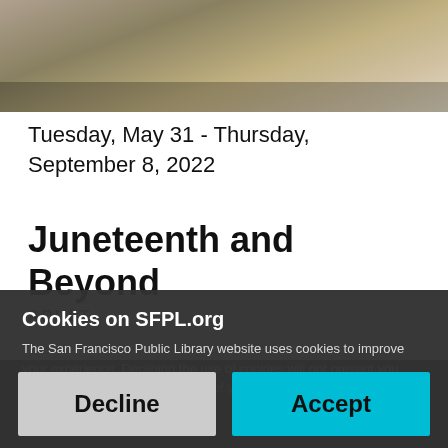[Figure (photo): Outdoor photo showing a person's legs and shadow on pavement, partial view from below a table or surface edge]
Tuesday, May 31 - Thursday, September 8, 2022
Juneteenth and Beyond
ADULT
Cookies on SFPL.org
The San Francisco Public Library website uses cookies to improve your experience. Declining the use of cookies will not prevent you from using the website but some of your preferences may not be retained.
Decline
Accept